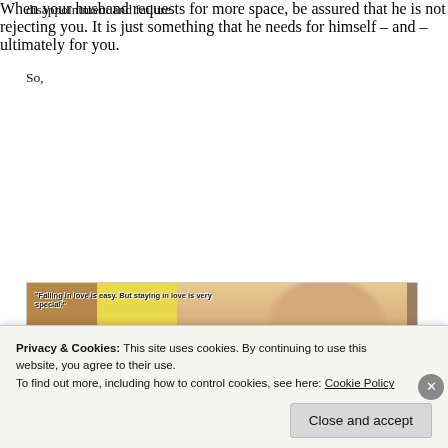disappointment and failure.
So,
When your husband requests for more space, be assured that he is not rejecting you. It is just something that he needs for himself – and – ultimately for you.
[Figure (photo): Woman smiling, leaning forward, with quote text overlay: "Falling in love is easy. But staying in love is very special." Yellow background.]
Privacy & Cookies: This site uses cookies. By continuing to use this website, you agree to their use.
To find out more, including how to control cookies, see here: Cookie Policy
Close and accept